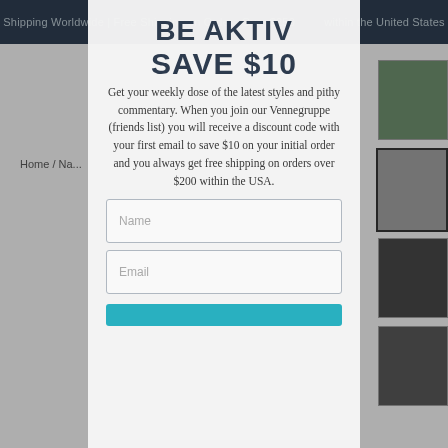Shipping Worldwide | Free Shipping on Orders Over $250 within the United States
BE AKTIV
SAVE $10
Get your weekly dose of the latest styles and pithy commentary. When you join our Vennegruppe (friends list) you will receive a discount code with your first email to save $10 on your initial order and you always get free shipping on orders over $200 within the USA.
Name
Email